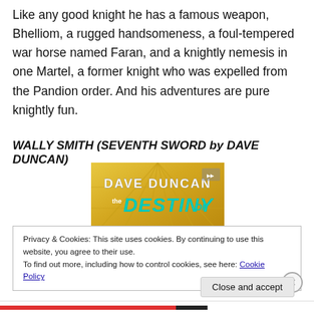Like any good knight he has a famous weapon, Bhelliom, a rugged handsomeness, a foul-tempered war horse named Faran, and a knightly nemesis in one Martel, a former knight who was expelled from the Pandion order. And his adventures are pure knightly fun.
WALLY SMITH (SEVENTH SWORD by DAVE DUNCAN)
[Figure (photo): Book cover showing 'Dave Duncan The Destiny of...' with golden wooden floor background and teal/turquoise stylized text]
Privacy & Cookies: This site uses cookies. By continuing to use this website, you agree to their use.
To find out more, including how to control cookies, see here: Cookie Policy
Close and accept